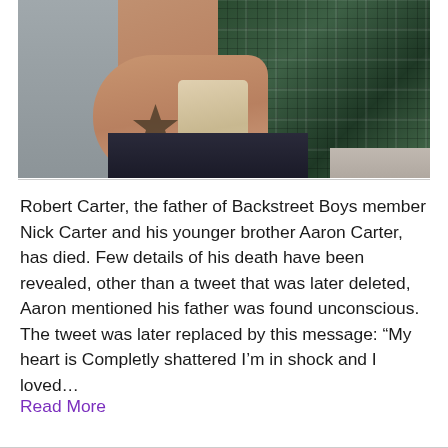[Figure (photo): Photo of a person with a tattoo on their arm, wearing a black and green plaid shirt, standing against a grey wall. A watermark reading 'CHAT' with a hat/arrow logo is visible in the lower center of the image.]
Robert Carter, the father of Backstreet Boys member Nick Carter and his younger brother Aaron Carter, has died. Few details of his death have been revealed, other than a tweet that was later deleted, Aaron mentioned his father was found unconscious. The tweet was later replaced by this message: “My heart is Completly shattered I’m in shock and I loved…
Read More